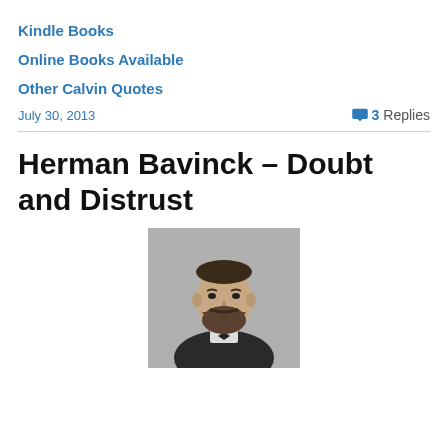Kindle Books
Online Books Available
Other Calvin Quotes
July 30, 2013
3 Replies
Herman Bavinck – Doubt and Distrust
[Figure (photo): Black and white portrait photograph of Herman Bavinck, a bearded man in formal Victorian-era attire]